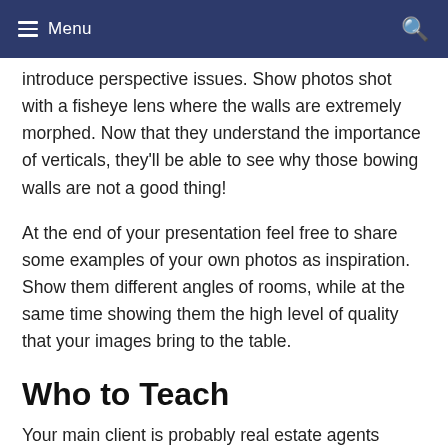Menu
introduce perspective issues. Show photos shot with a fisheye lens where the walls are extremely morphed. Now that they understand the importance of verticals, they'll be able to see why those bowing walls are not a good thing!
At the end of your presentation feel free to share some examples of your own photos as inspiration. Show them different angles of rooms, while at the same time showing them the high level of quality that your images bring to the table.
Who to Teach
Your main client is probably real estate agents